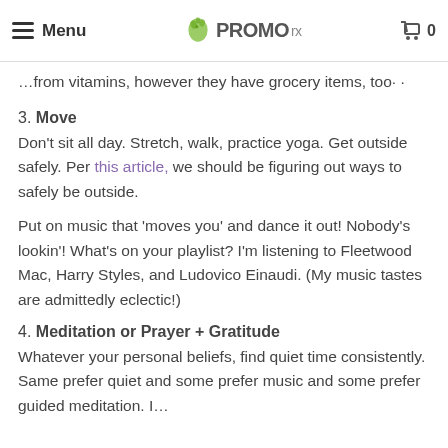Menu | PROMOrx | 0
…from vitamins, however they have grocery items, too· ·
3. Move
Don't sit all day. Stretch, walk, practice yoga. Get outside safely. Per this article, we should be figuring out ways to safely be outside.
Put on music that 'moves you' and dance it out! Nobody's lookin'! What's on your playlist? I'm listening to Fleetwood Mac, Harry Styles, and Ludovico Einaudi. (My music tastes are admittedly eclectic!)
4. Meditation or Prayer + Gratitude
Whatever your personal beliefs, find quiet time consistently. Same prefer quiet and some prefer music and some prefer guided meditation. I…